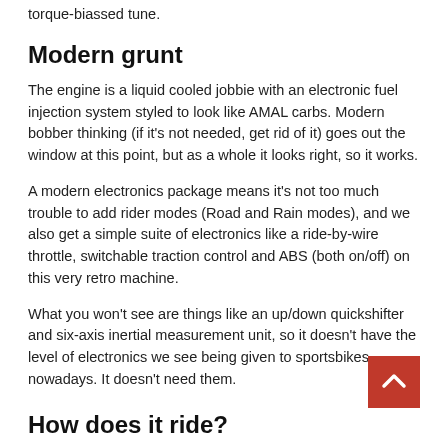torque-biassed tune.
Modern grunt
The engine is a liquid cooled jobbie with an electronic fuel injection system styled to look like AMAL carbs. Modern bobber thinking (if it’s not needed, get rid of it) goes out the window at this point, but as a whole it looks right, so it works.
A modern electronics package means it’s not too much trouble to add rider modes (Road and Rain modes), and we also get a simple suite of electronics like a ride-by-wire throttle, switchable traction control and ABS (both on/off) on this very retro machine.
What you won’t see are things like an up/down quickshifter and six-axis inertial measurement unit, so it doesn’t have the level of electronics we see being given to sportsbikes nowadays. It doesn’t need them.
How does it ride?